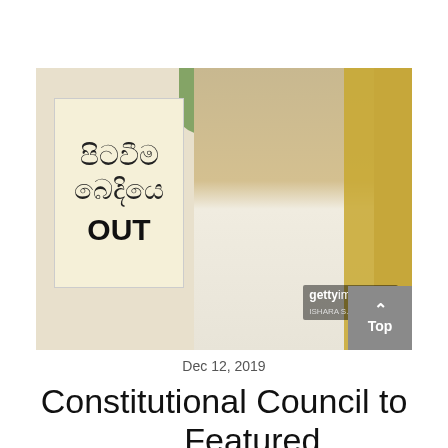[Figure (photo): A man in a white shirt standing near a gate, with a sign showing Sinhala text and the word OUT. Getty Images watermark visible with photographer credit ISHARA S. KODIKARA.]
Dec 12, 2019
Constitutional Council to ... Featured